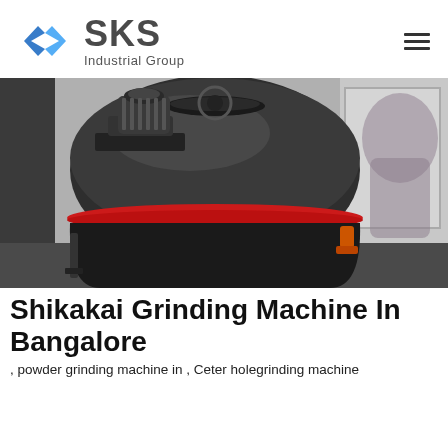[Figure (logo): SKS Industrial Group logo with blue diamond/arrow icon and dark gray text]
[Figure (photo): Industrial powder grinding machine with large dark dome-shaped top, red seam band, black body, motor on top-left platform, against a wall background]
Shikakai Grinding Machine In Bangalore
, powder grinding machine in , Ceter holegrinding machine